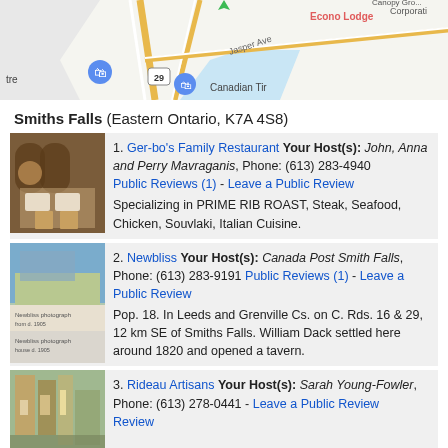[Figure (map): Google Maps partial view showing Smiths Falls area with Econo Lodge, Jasper Ave, route 29, and waterways visible]
Smiths Falls (Eastern Ontario, K7A 4S8)
1. Ger-bo's Family Restaurant Your Host(s): John, Anna and Perry Mavraganis, Phone: (613) 283-4940 Public Reviews (1) - Leave a Public Review Specializing in PRIME RIB ROAST, Steak, Seafood, Chicken, Souvlaki, Italian Cuisine.
2. Newbliss Your Host(s): Canada Post Smith Falls, Phone: (613) 283-9191 Public Reviews (1) - Leave a Public Review Pop. 18. In Leeds and Grenville Cs. on C. Rds. 16 & 29, 12 km SE of Smiths Falls. William Dack settled here around 1820 and opened a tavern.
3. Rideau Artisans Your Host(s): Sarah Young-Fowler, Phone: (613) 278-0441 - Leave a Public Review